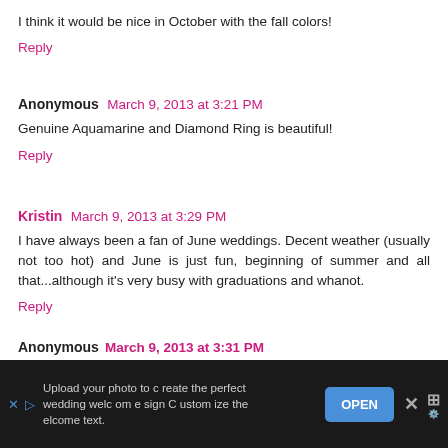I think it would be nice in October with the fall colors!
Reply
Anonymous  March 9, 2013 at 3:21 PM
Genuine Aquamarine and Diamond Ring is beautiful!
Reply
Kristin  March 9, 2013 at 3:29 PM
I have always been a fan of June weddings. Decent weather (usually not too hot) and June is just fun, beginning of summer and all that...although it's very busy with graduations and whanot.
Reply
Anonymous  March 9, 2013 at 3:31 PM
Upload your photo to create the perfect wedding welcome sign Customize the welcome text.